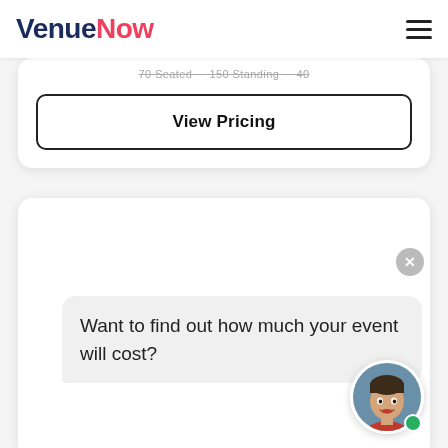VenueNow
70 Seated · 150 Standing · 40
View Pricing
Want to find out how much your event will cost?